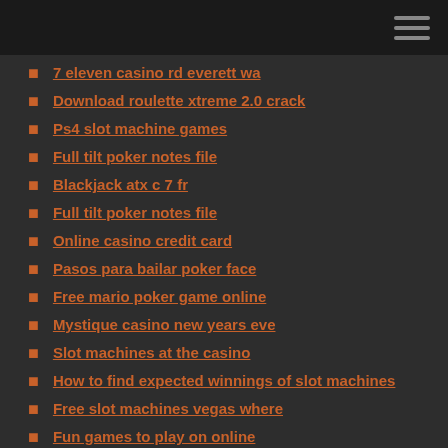7 eleven casino rd everett wa
Download roulette xtreme 2.0 crack
Ps4 slot machine games
Full tilt poker notes file
Blackjack atx c 7 fr
Full tilt poker notes file
Online casino credit card
Pasos para bailar poker face
Free mario poker game online
Mystique casino new years eve
Slot machines at the casino
How to find expected winnings of slot machines
Free slot machines vegas where
Fun games to play on online